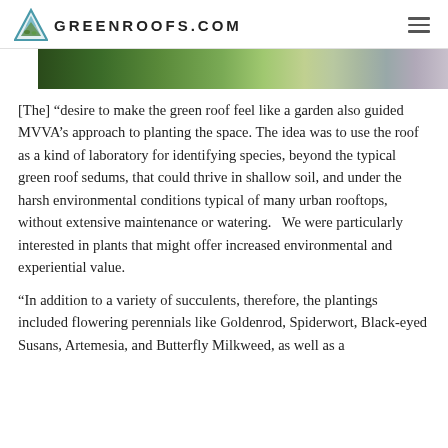GREENROOFS.COM
[Figure (photo): Partial view of a green roof with lush plantings including various plants and flowering species, set against a sky background.]
[The] “desire to make the green roof feel like a garden also guided MVVA’s approach to planting the space. The idea was to use the roof as a kind of laboratory for identifying species, beyond the typical green roof sedums, that could thrive in shallow soil, and under the harsh environmental conditions typical of many urban rooftops, without extensive maintenance or watering.   We were particularly interested in plants that might offer increased environmental and experiential value.
“In addition to a variety of succulents, therefore, the plantings included flowering perennials like Goldenrod, Spiderwort, Black-eyed Susans, Artemesia, and Butterfly Milkweed, as well as a